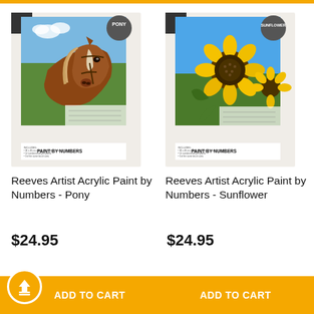[Figure (illustration): Reeves Paint by Numbers - Pony product box art showing a horse (pony) head illustration with PONY badge and reeves brand logo, PAINT BY NUMBERS text]
Reeves Artist Acrylic Paint by Numbers - Pony
$24.95
[Figure (illustration): Reeves Paint by Numbers - Sunflower product box art showing sunflowers photograph with SUNFLOWER badge and reeves brand logo, PAINT BY NUMBERS text]
Reeves Artist Acrylic Paint by Numbers - Sunflower
$24.95
ADD TO CART
ADD TO CART